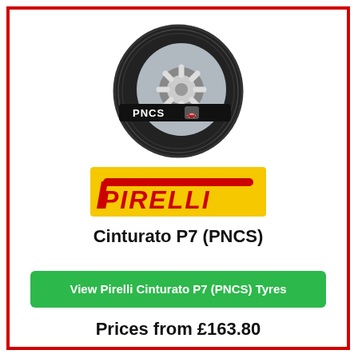[Figure (photo): Pirelli Cinturato P7 PNCS tyre viewed at an angle, showing the tread and sidewall with PNCS label on a black band]
[Figure (logo): Pirelli logo on yellow background with red stylized P and PIRELLI text]
Cinturato P7 (PNCS)
View Pirelli Cinturato P7 (PNCS) Tyres
Prices from £163.80